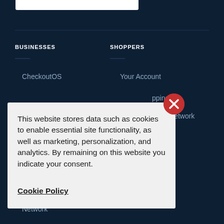BUSINESSES
SHOPPERS
CheckoutOS
Your Account
pping
Network
This website stores data such as cookies to enable essential site functionality, as well as marketing, personalization, and analytics. By remaining on this website you indicate your consent.
Cookie Policy
Network